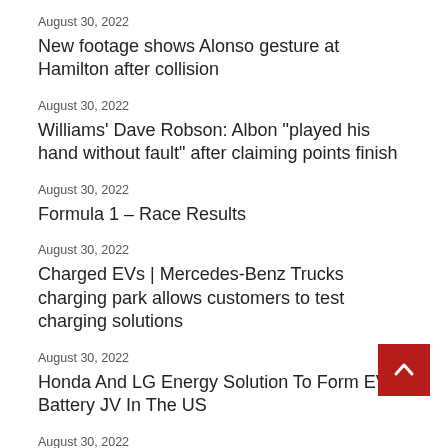August 30, 2022
New footage shows Alonso gesture at Hamilton after collision
August 30, 2022
Williams’ Dave Robson: Albon “played his hand without fault” after claiming points finish
August 30, 2022
Formula 1 – Race Results
August 30, 2022
Charged EVs | Mercedes-Benz Trucks charging park allows customers to test charging solutions
August 30, 2022
Honda And LG Energy Solution To Form EV Battery JV In The US
August 30, 2022
Charged EVs | SEMIKRON merging with Danfoss Silicon